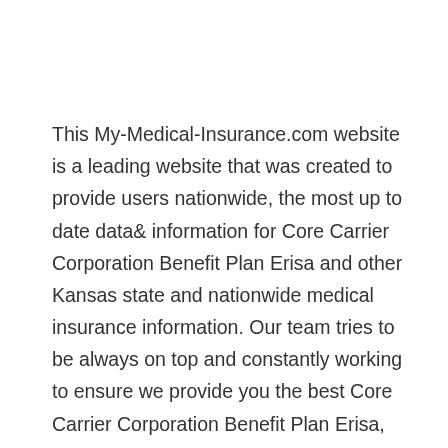This My-Medical-Insurance.com website is a leading website that was created to provide users nationwide, the most up to date data& information for Core Carrier Corporation Benefit Plan Erisa and other Kansas state and nationwide medical insurance information. Our team tries to be always on top and constantly working to ensure we provide you the best Core Carrier Corporation Benefit Plan Erisa, details, and information.